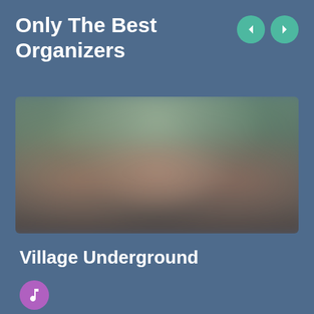Only The Best Organizers
[Figure (photo): Blurred group photo of people, used as a venue or event image]
Village Underground
[Figure (illustration): Purple circular music note icon button]